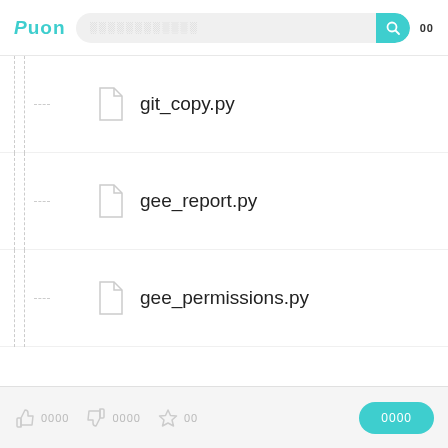[Figure (screenshot): Puon website header with logo, search bar, and icons]
git_copy.py
gee_report.py
gee_permissions.py
__init__.py
geckodriver
gee_assetcopy.py
0000  0000  00  0000